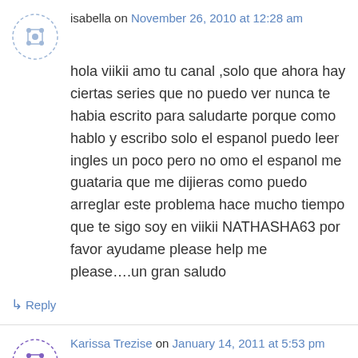isabella on November 26, 2010 at 12:28 am
hola viikii amo tu canal ,solo que ahora hay ciertas series que no puedo ver nunca te habia escrito para saludarte porque como hablo y escribo solo el espanol puedo leer ingles un poco pero no omo el espanol me guataria que me dijieras como puedo arreglar este problema hace mucho tiempo que te sigo soy en viikii NATHASHA63 por favor ayudame please help me please….un gran saludo
↳ Reply
Karissa Trezise on January 14, 2011 at 5:53 pm
good stuff. Do you have a RSS feed? And would